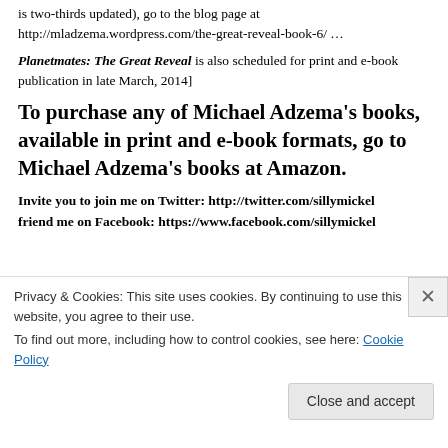is two-thirds updated), go to the blog page at http://mladzema.wordpress.com/the-great-reveal-book-6/ …
Planetmates: The Great Reveal is also scheduled for print and e-book publication in late March, 2014]
To purchase any of Michael Adzema's books, available in print and e-book formats, go to Michael Adzema's books at Amazon.
Invite you to join me on Twitter: http://twitter.com/sillymickel friend me on Facebook: https://www.facebook.com/sillymickel
[Figure (screenshot): Advertisements section with a dark video player thumbnail showing a red play button on black background]
Privacy & Cookies: This site uses cookies. By continuing to use this website, you agree to their use. To find out more, including how to control cookies, see here: Cookie Policy